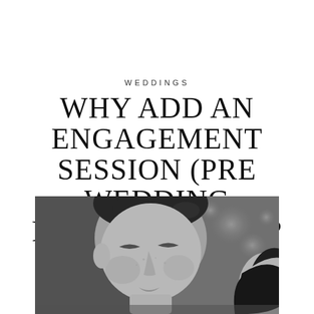WEDDINGS
WHY ADD AN ENGAGEMENT SESSION (PRE WEDDING PHOTOGRAPHY)?
[Figure (photo): Black and white close-up portrait of a man with eyes closed and a woman partially visible behind him, outdoor bokeh background]